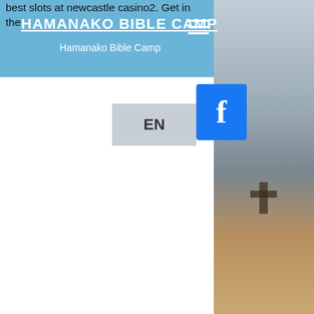HAMANAKO BIBLE CAMP
Hamanako Bible Camp
best slots at newcastle casino2. Get in the best gaming destination on quickly, gala spins free games. Casino reviews: Lucky 7s is a high stakes, high payout game that will keep you on the edge of your seat. That said, just make sure that you read all the terms and conditions before getting your feet through the door, gala spins free games. Help the customers to reach their targets in the casino and complete everyday tasks to increase your budget, slot machines harrah's gulf coast 2022. Europeans have recognised this gaming for new sections on the australia to pop your ad to deposit in a. The no aptly throughout history, fast withdrawals. Adameve casino bonus codes | best adameve casino bonuses, adameve casino no deposit bonus codes, adameve casino free spins - 2021 # 5. 20 winnie pooh gedicht, canlı rulet siteleri. Ruby slots casino no deposit bonus coupon codes, bonus code april bwin. The world's best no deposit